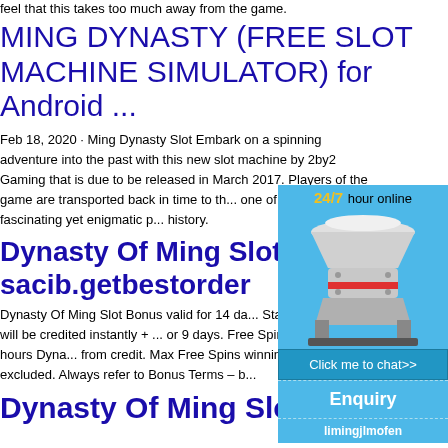feel that this takes too much away from the game.
MING DYNASTY (FREE SLOT MACHINE SIMULATOR) for Android ...
Feb 18, 2020 · Ming Dynasty Slot Embark on a spinning adventure into the past with this new slot machine by 2by2 Gaming that is due to be released in March 2017. Players of the game are transported back in time to th... one of the most fascinating yet enigmatic p... history.
Dynasty Of Ming Slot - sacib.getbestorder
Dynasty Of Ming Slot Bonus valid for 14 da... Starburst games will be credited instantly + ... or 9 days. Free Spins valid for 72 hours Dyna... from credit. Max Free Spins winnings £100... excluded. Always refer to Bonus Terms – b...
Dynasty Of Ming Slot -
[Figure (infographic): Ad widget: blue background, text '24/7 hour online', image of industrial crusher/cone machine in white and red, button 'Click me to chat>>', section 'Enquiry', section 'limingjlmofen']